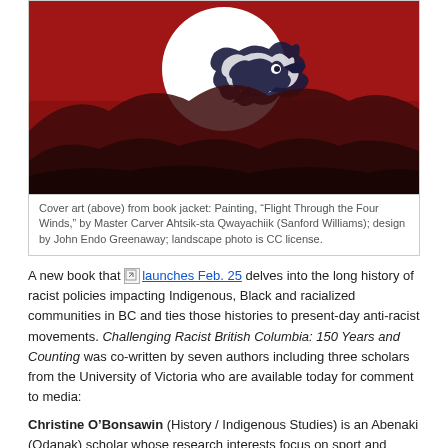[Figure (photo): Book cover art: red background with mountains silhouette and a white circle containing an Indigenous-style bird/figure graphic in black and dark blue. Cover art from 'Challenging Racist British Columbia: 150 Years and Counting'.]
Cover art (above) from book jacket: Painting, "Flight Through the Four Winds," by Master Carver Ahtsik-sta Qwayachiik (Sanford Williams); design by John Endo Greenaway; landscape photo is CC license.
A new book that launches Feb. 25 delves into the long history of racist policies impacting Indigenous, Black and racialized communities in BC and ties those histories to present-day anti-racist movements. Challenging Racist British Columbia: 150 Years and Counting was co-written by seven authors including three scholars from the University of Victoria who are available today for comment to media:
Christine O'Bonsawin (History / Indigenous Studies) is an Abenaki (Odanak) scholar whose research interests focus on sport and Indigenous histories and whose teaching covers theoretical questions related to Indigeneity. Her scholarship in Indigenous studies and sport history takes up questions regarding the appropriation and subjugation of Indigenous peoples, identities and cultures in Olympic history and for other mega-sporting events that take